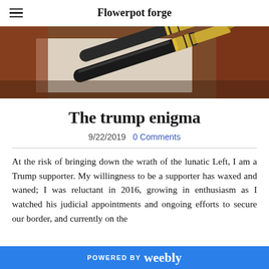Flowerpot forge
[Figure (photo): Close-up photo of a gold-tipped fountain pen resting on paper with a red leather background]
The trump enigma
9/22/2019  0 Comments
At the risk of bringing down the wrath of the lunatic Left, I am a Trump supporter. My willingness to be a supporter has waxed and waned; I was reluctant in 2016, growing in enthusiasm as I watched his judicial appointments and ongoing efforts to secure our border, and currently on the
POWERED BY weebly